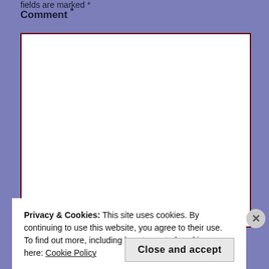fields are marked *
Comment *
[Figure (screenshot): White comment textarea box with dark red border]
Privacy & Cookies: This site uses cookies. By continuing to use this website, you agree to their use.
To find out more, including how to control cookies, see here: Cookie Policy
Close and accept